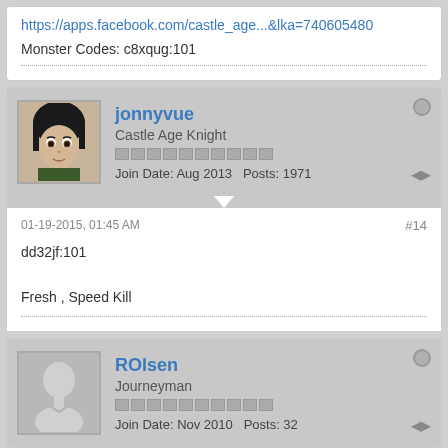https://apps.facebook.com/castle_age...&lka=740605480
Monster Codes: c8xqug:101
jonnyvue
Castle Age Knight
Join Date: Aug 2013   Posts: 1971
01-19-2015, 01:45 AM
#14
dd32jf:101

Fresh , Speed Kill
ROlsen
Journeyman
Join Date: Nov 2010   Posts: 32